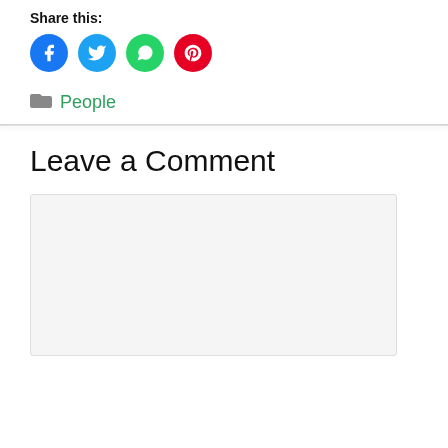Share this:
[Figure (infographic): Four social media share buttons: Facebook (blue circle with 'f' icon), Twitter (light blue circle with bird icon), WhatsApp (green circle with phone icon), Pinterest (red circle with 'P' icon)]
People
Leave a Comment
[Figure (other): Empty comment text area with light gray background]